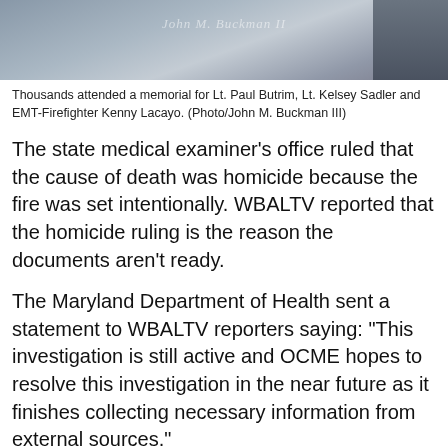[Figure (photo): Photograph of a memorial scene, partially visible person in grey clothing on the right side, with a cursive watermark reading 'John M. Buckman II']
Thousands attended a memorial for Lt. Paul Butrim, Lt. Kelsey Sadler and EMT-Firefighter Kenny Lacayo. (Photo/John M. Buckman III)
The state medical examiner’s office ruled that the cause of death was homicide because the fire was set intentionally. WBALTV reported that the homicide ruling is the reason the documents aren't ready.
The Maryland Department of Health sent a statement to WBALTV reporters saying: "This investigation is still active and OCME hopes to resolve this investigation in the near future as it finishes collecting necessary information from external sources."
"It unnecessarily drags out the bereavement process," said Josh Fannon, president of the Baltimore Fire Officers Association IAFF Local 964. "I feel the families are